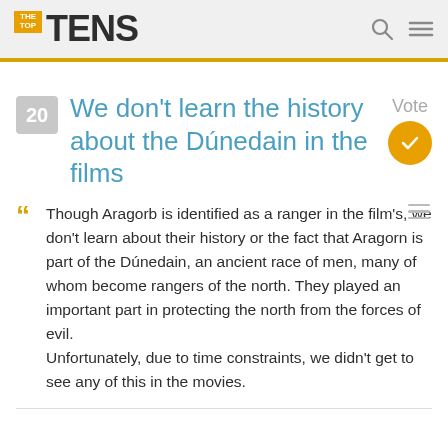THE TOP TENS
We don't learn the history about the Dúnedain in the films
Though Aragorb is identified as a ranger in the film's, we don't learn about their history or the fact that Aragorn is part of the Dúnedain, an ancient race of men, many of whom become rangers of the north. They played an important part in protecting the north from the forces of evil. Unfortunately, due to time constraints, we didn't get to see any of this in the movies.